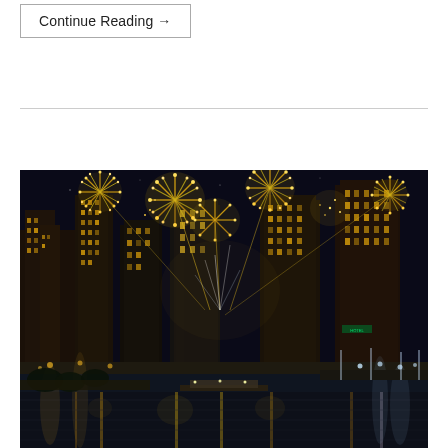Continue Reading →
[Figure (photo): Night cityscape photo of a city skyline (resembling Chicago) with multiple large golden fireworks bursting over tall skyscrapers. A river runs through the center of the image reflecting the lights of the buildings and fireworks. The scene is illuminated by warm golden and white lights from the buildings and fireworks against a dark night sky.]